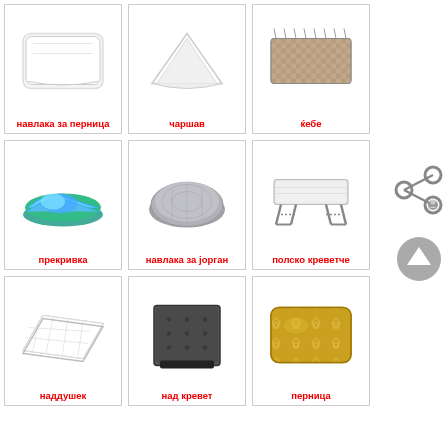[Figure (illustration): Grid of 9 bedroom item vocabulary cards in Macedonian. Row 1: навлака за перница (pillowcase), чаршав (sheet), ќебе (blanket). Row 2: прекривка (bedspread), навлака за јорган (duvet cover), полско креветче (cot). Row 3: наддушек (mattress topper), над кревет (headboard), перница (pillow). Each card shows a product photo with a red Cyrillic label beneath.]
[Figure (illustration): Share icon (network nodes) on the right side]
[Figure (illustration): Scroll-to-top arrow button on the right side]